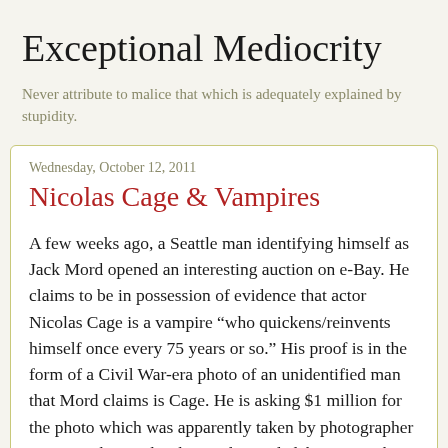Exceptional Mediocrity
Never attribute to malice that which is adequately explained by stupidity.
Wednesday, October 12, 2011
Nicolas Cage & Vampires
A few weeks ago, a Seattle man identifying himself as Jack Mord opened an interesting auction on e-Bay. He claims to be in possession of evidence that actor Nicolas Cage is a vampire “who quickens/reinvents himself once every 75 years or so.” His proof is in the form of a Civil War-era photo of an unidentified man that Mord claims is Cage. He is asking $1 million for the photo which was apparently taken by photographer G.B. Smith. For the skeptical, Mord elaborates on his theory: